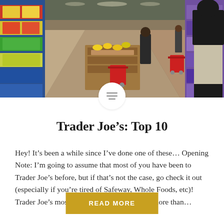[Figure (photo): Interior of a Trader Joe's grocery store showing a wide produce aisle with wooden crates and colorful fruits and vegetables on shelves on both sides, shoppers with red carts in the background and a person in a black hoodie on the right side.]
Trader Joe’s: Top 10
Hey! It’s been a while since I’ve done one of these… Opening Note: I’m going to assume that most of you have been to Trader Joe’s before, but if that’s not the case, go check it out (especially if you’re tired of Safeway, Whole Foods, etc)! Trader Joe’s most certainly falls under that “more than…
READ MORE